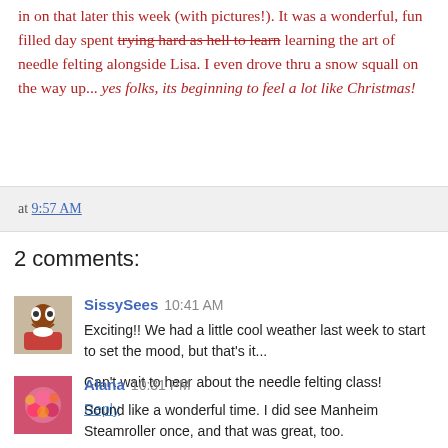in on that later this week (with pictures!). It was a wonderful, fun filled day spent trying hard as hell to learn learning the art of needle felting alongside Lisa. I even drove thru a snow squall on the way up... yes folks, its beginning to feel a lot like Christmas!
at 9:57 AM
2 comments:
SissySees 10:41 AM
Exciting!! We had a little cool weather last week to start to set the mood, but that's it...
Can't wait to hear about the needle felting class!
Reply
Alana 10:31 PM
Sound like a wonderful time. I did see Manheim Steamroller once, and that was great, too.